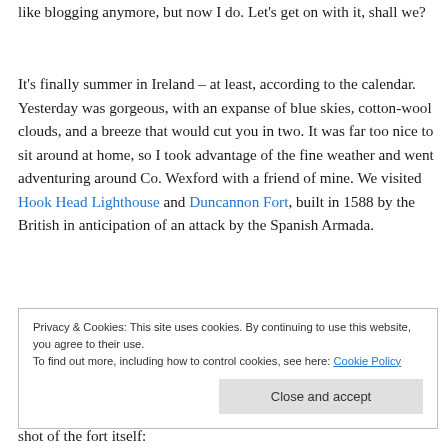like blogging anymore, but now I do. Let's get on with it, shall we?
It's finally summer in Ireland – at least, according to the calendar. Yesterday was gorgeous, with an expanse of blue skies, cotton-wool clouds, and a breeze that would cut you in two. It was far too nice to sit around at home, so I took advantage of the fine weather and went adventuring around Co. Wexford with a friend of mine. We visited Hook Head Lighthouse and Duncannon Fort, built in 1588 by the British in anticipation of an attack by the Spanish Armada.
Privacy & Cookies: This site uses cookies. By continuing to use this website, you agree to their use.
To find out more, including how to control cookies, see here: Cookie Policy
[Close and accept]
shot of the fort itself: